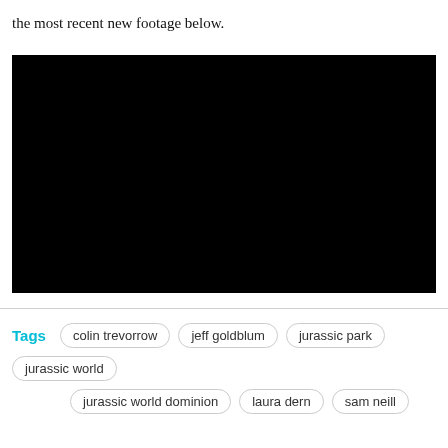the most recent new footage below.
[Figure (other): Black video player embed with no visible content]
Tags  colin trevorrow  jeff goldblum  jurassic park  jurassic world  jurassic world dominion  laura dern  sam neill